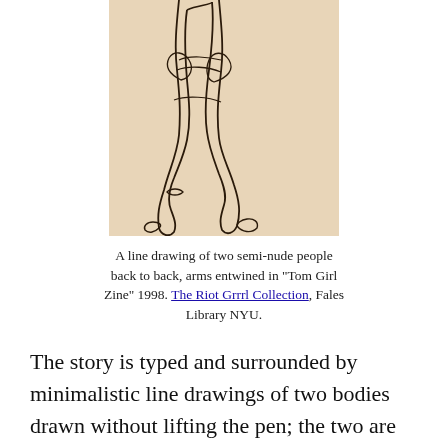[Figure (illustration): A line drawing of two semi-nude people back to back with arms entwined, rendered in minimalistic style on a beige/tan background.]
A line drawing of two semi-nude people back to back, arms entwined in "Tom Girl Zine" 1998. The Riot Grrrl Collection, Fales Library NYU.
The story is typed and surrounded by minimalistic line drawings of two bodies drawn without lifting the pen; the two are constantly connected. This artistic decision links